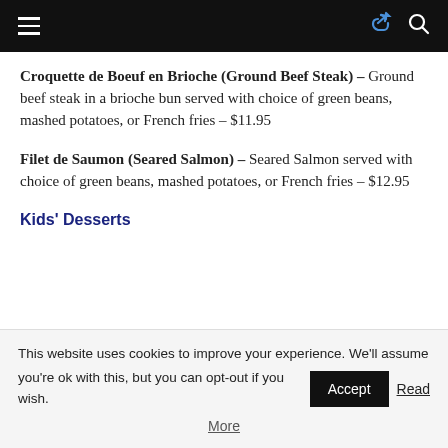Navigation header with hamburger menu, share icon, and search icon
Croquette de Boeuf en Brioche (Ground Beef Steak) – Ground beef steak in a brioche bun served with choice of green beans, mashed potatoes, or French fries – $11.95
Filet de Saumon (Seared Salmon) – Seared Salmon served with choice of green beans, mashed potatoes, or French fries – $12.95
Kids' Desserts
This website uses cookies to improve your experience. We'll assume you're ok with this, but you can opt-out if you wish. Accept Read More